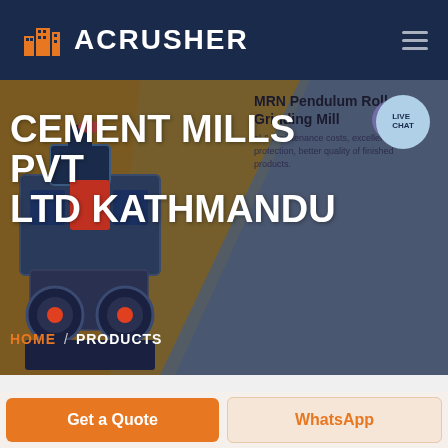ACRUSHER
CEMENT MILLS PVT LTD KATHMANDU
MRN Pendulum Roller Grinding Mill
al & maintenance costs, excellent protection, better quality of finished products.
HOME / PRODUCTS
Get a Quote
WhatsApp